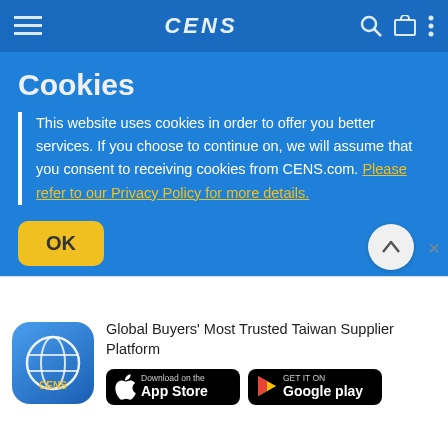CENS
Cookies
This website uses cookies in order to offer you better services. If you choose to continue on, we will assume that you consent to receiving cookies from CENS.com. Please refer to our Privacy Policy for more details.
OK
[Figure (screenshot): CENS app icon with globe logo]
Global Buyers' Most Trusted Taiwan Supplier Platform
[Figure (logo): Download on the App Store button]
[Figure (logo): Get it on Google Play button]